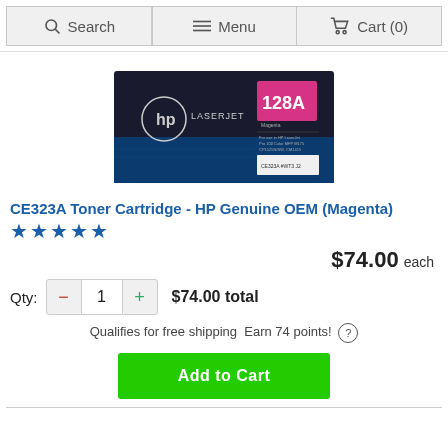Search  Menu  Cart (0)
[Figure (photo): HP LaserJet 128A magenta toner cartridge product box in black and magenta packaging]
CE323A Toner Cartridge - HP Genuine OEM (Magenta)
★★★★★
$74.00 each
Qty: − 1 + $74.00 total
Qualifies for free shipping Earn 74 points! (?)
Add to Cart